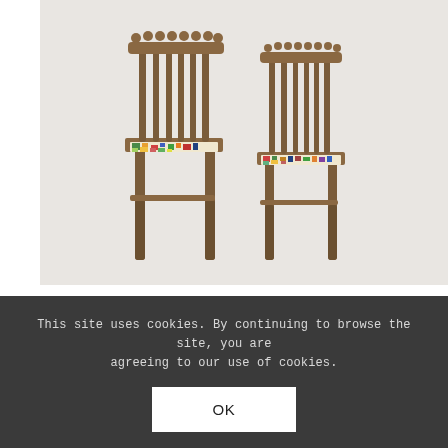[Figure (photo): Two ornate wooden chairs with decorative spindle backs and colorful mosaic/needlepoint upholstered seats, photographed against a light background.]
Hillsideout
MOSAICED NEEDLEWOMAN CHAIRS
Limited Edition - Chair
This site uses cookies. By continuing to browse the site, you are agreeing to our use of cookies.
OK